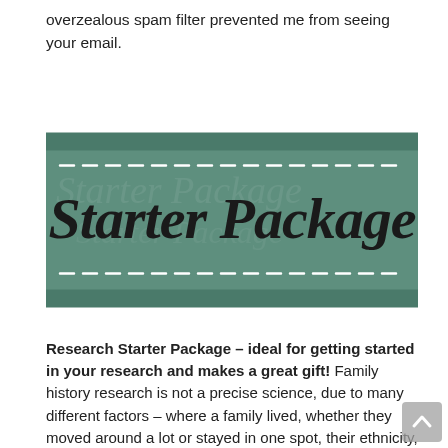overzealous spam filter prevented me from seeing your email.
[Figure (illustration): Decorative banner with teal/green background, dashed white border lines at top and bottom, and cursive script text reading 'Starter Package']
Research Starter Package – ideal for getting started in your research and makes a great gift! Family history research is not a precise science, due to many different factors – where a family lived, whether they moved around a lot or stayed in one spot, their ethnicity, their religion, and so on. So it is not possible to provide a very accurate estimate of how long research will take (and thus how much it will cost). Therefore, research can start with this starter pack, so you can get a taste of what is available, and if you want to continue with more research